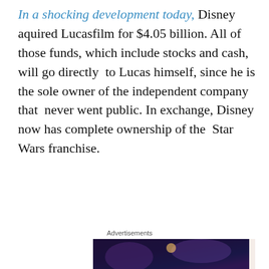In a shocking development today, Disney aquired Lucasfilm for $4.05 billion. All of those funds, which include stocks and cash, will go directly to Lucas himself, since he is the sole owner of the independent company that never went public. In exchange, Disney now has complete ownership of the Star Wars franchise.
Advertisements
[Figure (other): Advertisement box with text 'Need a website quickly – and on a budget?' and WordPress logo]
What does this mean for fans? It means that we might get
Privacy & Cookies: This site uses cookies. By continuing to use this website, you agree to their use.
To find out more, including how to control cookies, see here: Cookie Policy
Close and accept
[Figure (photo): Bottom portion of a Star Wars themed image]